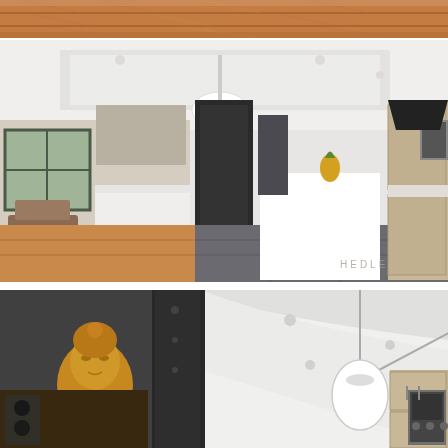[Figure (photo): Top strip: partial view of a wooden floor with warm honey-toned timber boards.]
[Figure (photo): Middle photo: interior view of a modern open-plan kitchen with two islands, dark slate tile floor, white coffered ceiling, pendant light, timber and white cabinetry, refrigerator, oven, range hood, and a dining area in the background. A watermark reading 'HEDLE' is visible in the lower right.]
[Figure (photo): Bottom photo: close-up interior detail showing a dark column/pillar, a golden Buddha head sculpture on a shelf, a pendant light hanging from a vaulted white ceiling with recessed spotlights, and timber kitchen cabinetry with an oven on the right side.]